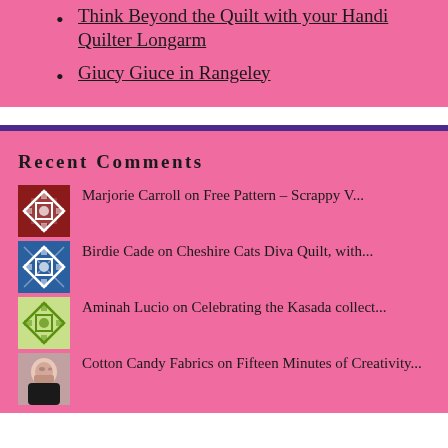Think Beyond the Quilt with your Handi Quilter Longarm
Giucy Giuce in Rangeley
Recent Comments
Marjorie Carroll on Free Pattern – Scrappy V...
Birdie Cade on Cheshire Cats Diva Quilt, with...
Aminah Lucio on Celebrating the Kasada collect...
Cotton Candy Fabrics on Fifteen Minutes of Creativity...